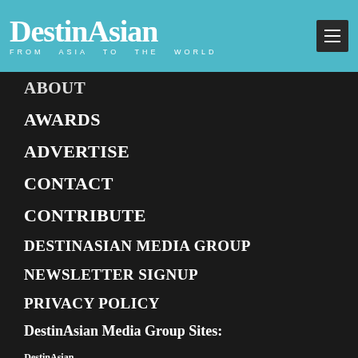DestinAsian FROM ASIA TO THE WORLD
ABOUT
AWARDS
ADVERTISE
CONTACT
CONTRIBUTE
DESTINASIAN MEDIA GROUP
NEWSLETTER SIGNUP
PRIVACY POLICY
DestinAsian Media Group Sites:
[Figure (logo): Four brand logos in a row: DestinAsian, PRESTIGE, DAMAN, SCOP3]
Copyright © 2018 DESTINASIAN MEDIA GROUP - ALL RIGHTS RESERVED. Note: We do our best to ensure that all articles are accurate at the time of publication, but things change, do check ahead. Enjoy your travels!